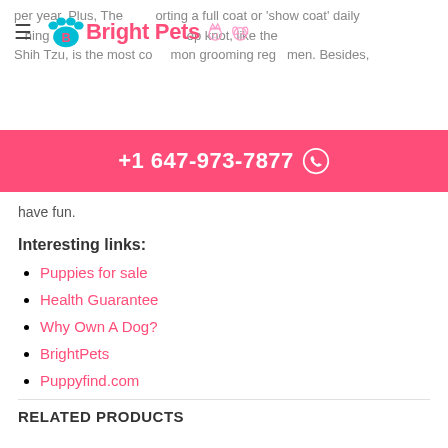per year. Plus, The porting a full coat or 'show coat' daily hing and top knot, like the Shih Tzu, is the most common grooming regimen. Besides,
[Figure (logo): Bright Pets logo with paw print and pet icons]
+1 647-973-7877
have fun.
Interesting links:
Puppies for sale
Health Guarantee
Why Own A Dog?
BrightPets
Puppyfind.com
RELATED PRODUCTS